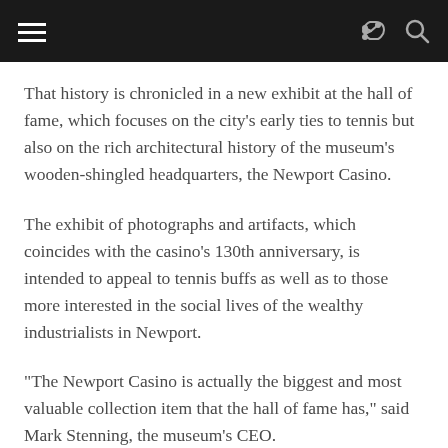That history is chronicled in a new exhibit at the hall of fame, which focuses on the city’s early ties to tennis but also on the rich architectural history of the museum’s wooden-shingled headquarters, the Newport Casino.
The exhibit of photographs and artifacts, which coincides with the casino’s 130th anniversary, is intended to appeal to tennis buffs as well as to those more interested in the social lives of the wealthy industrialists in Newport.
“The Newport Casino is actually the biggest and most valuable collection item that the hall of fame has,” said Mark Stenning, the museum’s CEO.